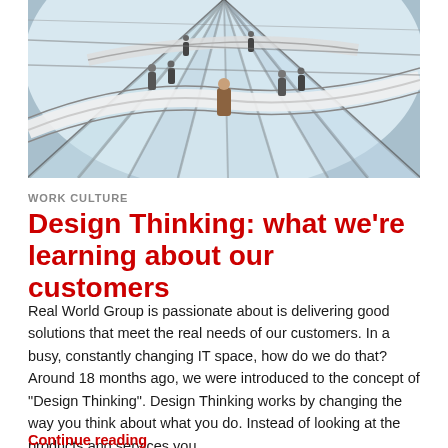[Figure (photo): Interior architectural photo of a modern glass dome/atrium structure with curved walkways and people walking on a spiral ramp. Steel and glass ceiling visible above.]
WORK CULTURE
Design Thinking: what we're learning about our customers
Real World Group is passionate about is delivering good solutions that meet the real needs of our customers. In a busy, constantly changing IT space, how do we do that? Around 18 months ago, we were introduced to the concept of “Design Thinking”. Design Thinking works by changing the way you think about what you do. Instead of looking at the products and services you …
Continue reading